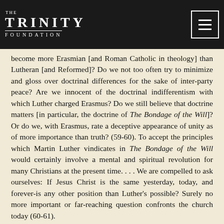THE TRINITY FOUNDATION
become more Erasmian [and Roman Catholic in theology] than Lutheran [and Reformed]? Do we not too often try to minimize and gloss over doctrinal differences for the sake of inter-party peace? Are we innocent of the doctrinal indifferentism with which Luther charged Erasmus? Do we still believe that doctrine matters [in particular, the doctrine of The Bondage of the Will]? Or do we, with Erasmus, rate a deceptive appearance of unity as of more importance than truth? (59-60). To accept the principles which Martin Luther vindicates in The Bondage of the Will would certainly involve a mental and spiritual revolution for many Christians at the present time. . . . We are compelled to ask ourselves: If Jesus Christ is the same yesterday, today, and forever-is any other position than Luther's possible? Surely no more important or far-reaching question confronts the church today (60-61).
On Free Will
Erasmus was anything but consistent. He described the power of free will as small and wholly ineffective apart from the grace of God (104). His exact words were: "As in those